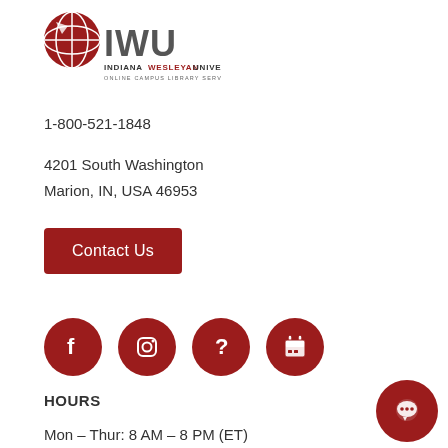[Figure (logo): Indiana Wesleyan University Online Campus Library Services logo with globe graphic and IWU text]
1-800-521-1848
4201 South Washington
Marion, IN, USA 46953
Contact Us
[Figure (infographic): Four dark red circular social media and service icons: Facebook, Instagram, Question mark (help), Calendar]
HOURS
Mon – Thur: 8 AM – 8 PM (ET)
Friday: 8 AM – 5 PM (ET)
Saturday: CLOSED
Sunday: CLOSED
[Figure (other): Dark red circular chat bubble icon in bottom right corner]